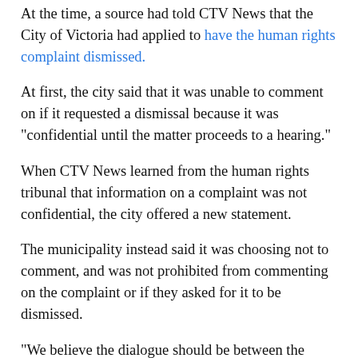At the time, a source had told CTV News that the City of Victoria had applied to have the human rights complaint dismissed.
At first, the city said that it was unable to comment on if it requested a dismissal because it was "confidential until the matter proceeds to a hearing."
When CTV News learned from the human rights tribunal that information on a complaint was not confidential, the city offered a new statement.
The municipality instead said it was choosing not to comment, and was not prohibited from commenting on the complaint or if they asked for it to be dismissed.
"We believe the dialogue should be between the parties and not through the media. Therefore, to encourage productive discussions with the [CFB] to review the concerns they have raised and options for improved